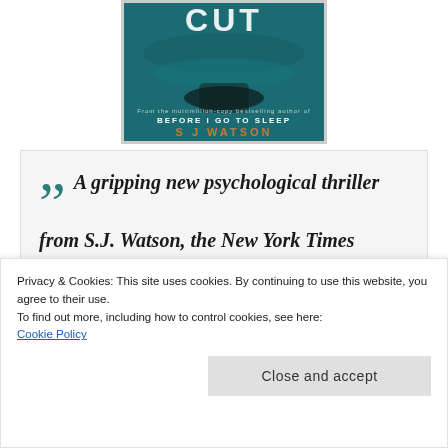[Figure (illustration): Book cover of a novel showing partial text 'CUT' and 'BEFORE I GO TO SLEEP' and 'S J WATSON' on a teal/dark water background with a shadowy figure]
“ A gripping new psychological thriller from S.J. Watson, the New York Times bestselling author of Before I Go to Sleep, in which a documentary filmmaker of a local girl.
Privacy & Cookies: This site uses cookies. By continuing to use this website, you agree to their use.
To find out more, including how to control cookies, see here:
Cookie Policy
Close and accept